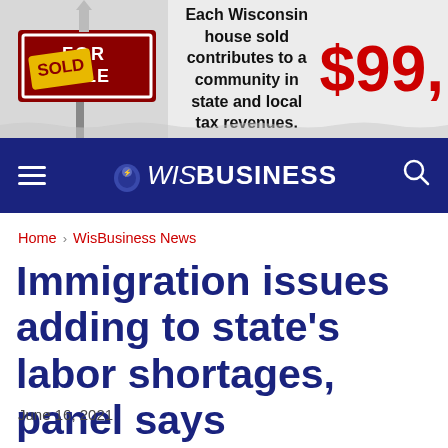[Figure (illustration): Advertisement banner showing a 'For Sale / Sold' real estate sign on the left, with text 'Each Wisconsin house sold contributes to a community in state and local tax revenues.' and a large red '$99,' price/value indicator on the right.]
WisBusiness (navigation bar with hamburger menu and search icon)
Home › WisBusiness News
Immigration issues adding to state's labor shortages, panel says
June 16, 2021